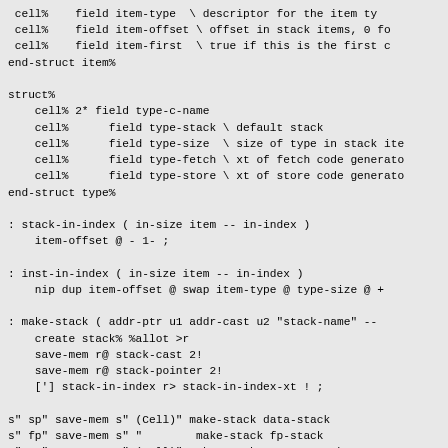cell%    field item-type  \ descriptor for the item ty
 cell%    field item-offset \ offset in stack items, 0 fo
 cell%    field item-first  \ true if this is the first c
end-struct item%

struct%
    cell% 2* field type-c-name
    cell%      field type-stack \ default stack
    cell%      field type-size  \ size of type in stack ite
    cell%      field type-fetch \ xt of fetch code generato
    cell%      field type-store \ xt of store code generato
end-struct type%

: stack-in-index ( in-size item -- in-index )
    item-offset @ - 1- ;

: inst-in-index ( in-size item -- in-index )
    nip dup item-offset @ swap item-type @ type-size @ +

: make-stack ( addr-ptr u1 addr-cast u2 "stack-name" -- )
    create stack% %allot >r
    save-mem r@ stack-cast 2!
    save-mem r@ stack-pointer 2!
    ['] stack-in-index r> stack-in-index-xt ! ;

s" sp" save-mem s" (Cell)" make-stack data-stack
s" fp" save-mem s" "        make-stack fp-stack
s" rp" save-mem s" (Cell)" make-stack return-stack
s" IP" save-mem s" error don't use # on results" make-sta
' inst-in-index inst-stream stack-in-index-xt !